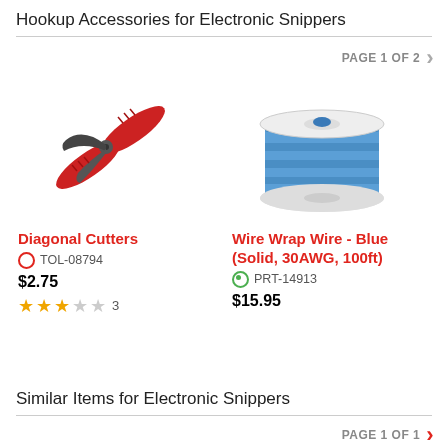Hookup Accessories for Electronic Snippers
PAGE 1 OF 2
[Figure (photo): Diagonal cutters with red handles]
Diagonal Cutters
TOL-08794
$2.75
3 stars rating, 3 reviews
[Figure (photo): Spool of blue wire wrap wire]
Wire Wrap Wire - Blue (Solid, 30AWG, 100ft)
PRT-14913
$15.95
Similar Items for Electronic Snippers
PAGE 1 OF 1